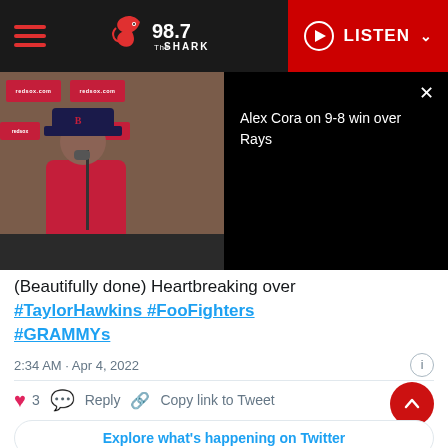98.7 The Shark — LISTEN
[Figure (screenshot): Video player showing Alex Cora press conference at Red Sox media setup, with overlay panel showing title 'Alex Cora on 9-8 win over Rays' and close button]
(Beautifully done) Heartbreaking over #TaylorHawkins #FooFighters #GRAMMYs
2:34 AM · Apr 4, 2022
♥ 3   Reply   Copy link to Tweet
Explore what's happening on Twitter